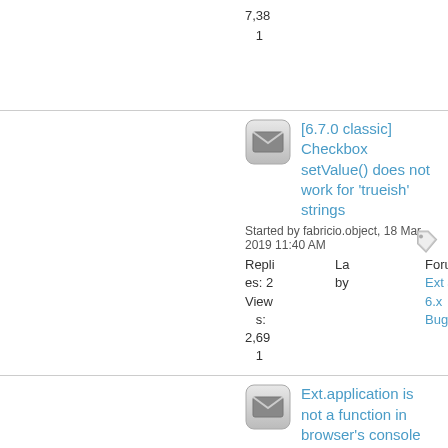Views: 7,381
[6.7.0 classic] Checkbox setValue() does not work for 'trueish' strings
Started by fabricio.object, 18 Mar 2019 11:40 AM
Replies: 2 Views: 2,691 Last by Forum: Ext JS 6.x Bugs
Ext.application is not a function in browser's console
Started by itsupport_at_ventana, 18 Mar 2019 2:55 AM
Replies: 6 Views: 12,100 Last by Forum: ExtGen